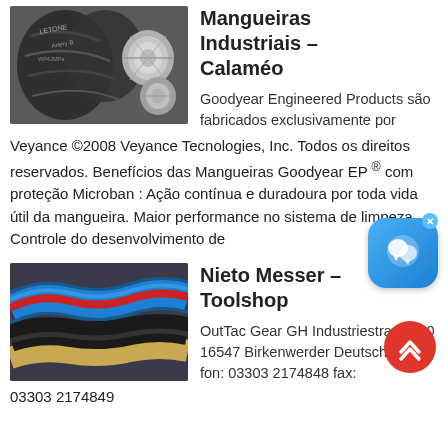[Figure (photo): Industrial hydraulic hoses and fittings, dark rubber hoses with metal connectors, brand labels visible]
Mangueiras Industriais - Calaméo
Goodyear Engineered Products são fabricados exclusivamente por Veyance ©2008 Veyance Tecnologies, Inc. Todos os direitos reservados. Benefícios das Mangueiras Goodyear EP ® com proteção Microban : Ação contínua e duradoura por toda vida útil da mangueira. Maior performance no sistema de limpeza. Controle do desenvolvimento de
[Figure (photo): Blue and red industrial hoses coiled together]
Nieto Messer - Toolshop
OutTac Gear GH Industriestrasse 10 16547 Birkenwerder Deutschland fon: 03303 2174848 fax:
03303 2174849